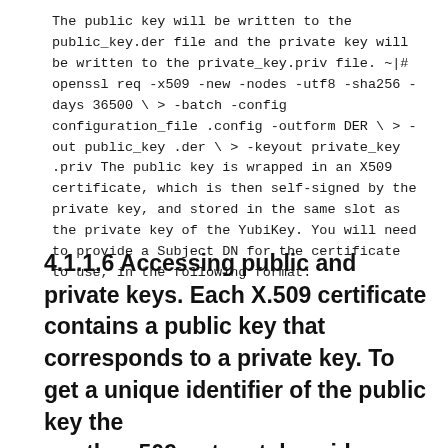The public key will be written to the public_key.der file and the private key will be written to the private_key.priv file. ~|# openssl req -x509 -new -nodes -utf8 -sha256 -days 36500 \ > -batch -config configuration_file .config -outform DER \ > -out public_key .der \ > -keyout private_key .priv The public key is wrapped in an X509 certificate, which is then self-signed by the private key, and stored in the same slot as the private key of the YubiKey. You will need to provide a Subject DN for the certificate to use, in the following format:
4.1.1.6 Accessing public and private keys. Each X.509 certificate contains a public key that corresponds to a private key. To get a unique identifier of the public key the gnutls_x509_crt_get_key_id function is provided. To export the public key or its